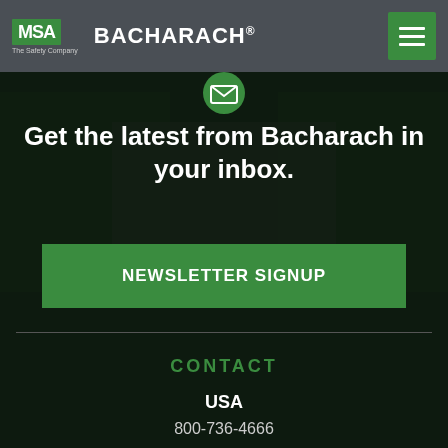MSA The Safety Company | BACHARACH®
[Figure (screenshot): Email envelope icon in green circle]
Get the latest from Bacharach in your inbox.
NEWSLETTER SIGNUP
CONTACT
USA
800-736-4666
724-334-5000
EUROPE